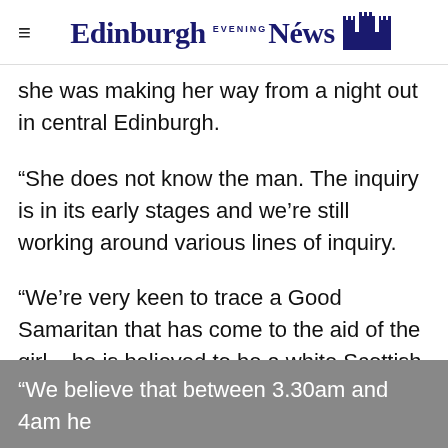Edinburgh Evening News
she was making her way from a night out in central Edinburgh.
“She does not know the man. The inquiry is in its early stages and we’re still working around various lines of inquiry.
“We’re very keen to trace a Good Samaritan that has come to the aid of the girl – he is believed to be a white Scottish male.
“We believe that between 3.30am and 4am he